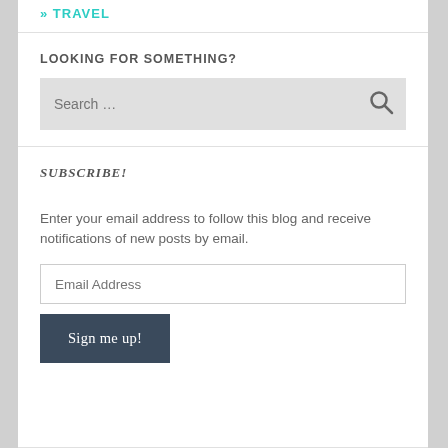» TRAVEL
LOOKING FOR SOMETHING?
Search ...
SUBSCRIBE!
Enter your email address to follow this blog and receive notifications of new posts by email.
Email Address
Sign me up!